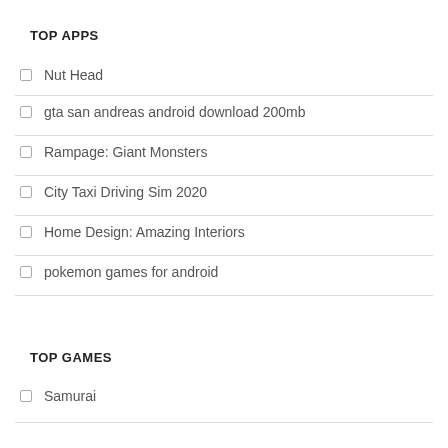TOP APPS
Nut Head
gta san andreas android download 200mb
Rampage: Giant Monsters
City Taxi Driving Sim 2020
Home Design: Amazing Interiors
pokemon games for android
TOP GAMES
Samurai